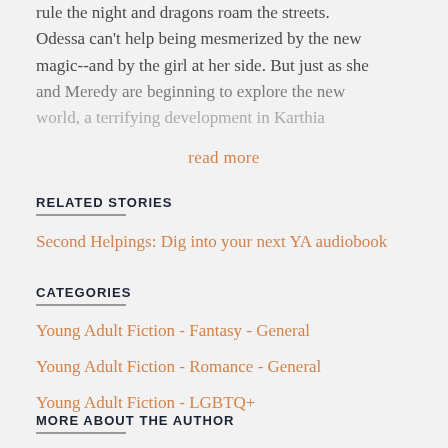rule the night and dragons roam the streets. Odessa can't help being mesmerized by the new magic--and by the girl at her side. But just as she and Meredy are beginning to explore the new world, a terrifying development in Karthia
read more
RELATED STORIES
Second Helpings: Dig into your next YA audiobook
CATEGORIES
Young Adult Fiction - Fantasy - General
Young Adult Fiction - Romance - General
Young Adult Fiction - LGBTQ+
MORE ABOUT THE AUTHOR